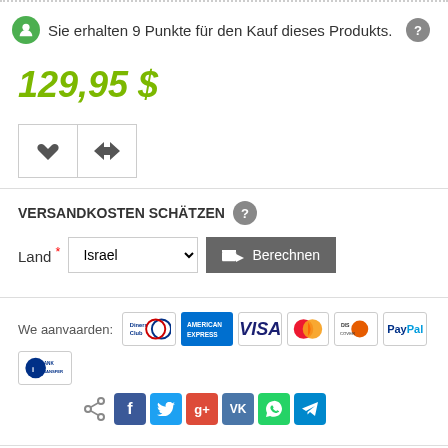Sie erhalten 9 Punkte für den Kauf dieses Produkts.
129,95 $
[Figure (infographic): Action buttons: heart (wishlist) and share/compare icons]
VERSANDKOSTEN SCHÄTZEN
Land * Israel [dropdown] Berechnen
[Figure (infographic): Payment method logos: Diners Club, American Express, VISA, Mastercard, Discover, PayPal, Bank Transfer]
[Figure (infographic): Social sharing icons: share, Facebook, Twitter, Google+, VK, WhatsApp, Telegram]
Details
Augenpflege: